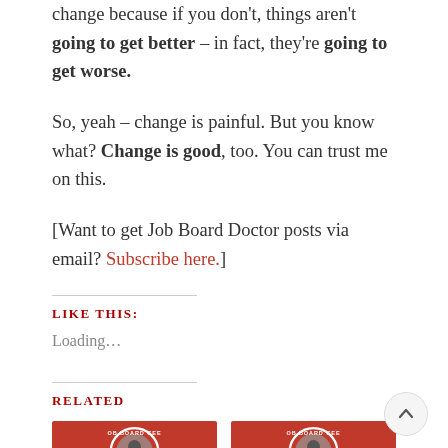change because if you don't, things aren't going to get better – in fact, they're going to get worse.
So, yeah – change is painful. But you know what? Change is good, too. You can trust me on this.
[Want to get Job Board Doctor posts via email? Subscribe here.]
LIKE THIS:
Loading...
RELATED
[Figure (photo): Two Job Board Geek logo thumbnails side by side, red circular badge design]
[Figure (other): Scroll to top button, circle with upward chevron]